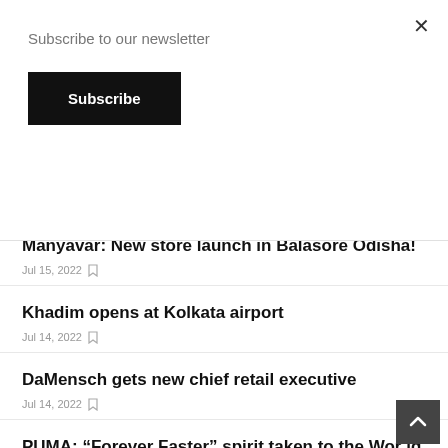Subscribe to our newsletter
Subscribe
Jul 10, 2022
Manyavar: New store launch in Balasore Odisha!
Jul 15, 2022
Khadim opens at Kolkata airport
Jul 14, 2022
DaMensch gets new chief retail executive
Jul 14, 2022
PUMA: “Forever Faster” spirit taken to the World Athletics Championships